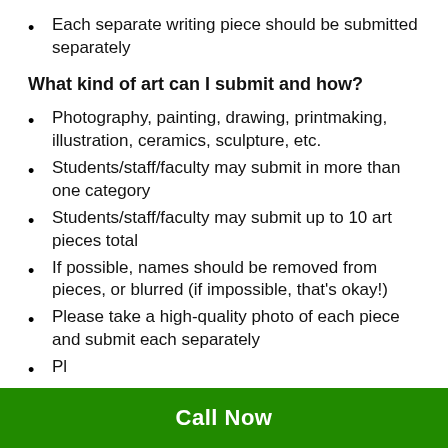Each separate writing piece should be submitted separately
What kind of art can I submit and how?
Photography, painting, drawing, printmaking, illustration, ceramics, sculpture, etc.
Students/staff/faculty may submit in more than one category
Students/staff/faculty may submit up to 10 art pieces total
If possible, names should be removed from pieces, or blurred (if impossible, that's okay!)
Please take a high-quality photo of each piece and submit each separately
Pl...
Call Now